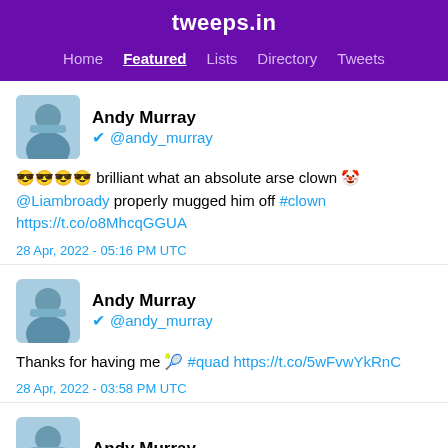tweeps.in
Home  Featured  Lists  Directory  Tweets
Andy Murray
@andy_murray
😎😎😎😎 brilliant what an absolute arse clown 🤡 @Liambroady properly mugged him off #clown https://t.co/o8MhcqGGUA
28 Apr, 2022 - 05:16 PM UTC
Andy Murray
@andy_murray
Thanks for having me 🎾 #quad https://t.co/5wFvwYkRnC
28 Apr, 2022 - 03:58 PM UTC
Andy Murray